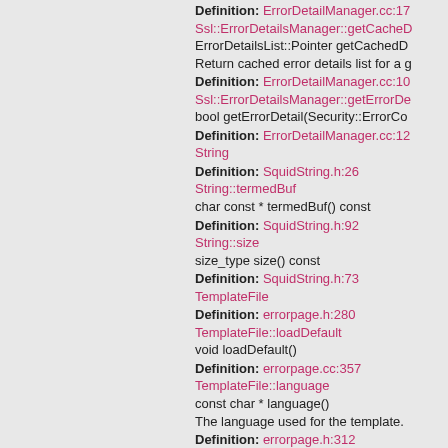Definition: ErrorDetailManager.cc:17
Ssl::ErrorDetailsManager::getCachedD
ErrorDetailsList::Pointer getCachedD
Return cached error details list for a g
Definition: ErrorDetailManager.cc:10
Ssl::ErrorDetailsManager::getErrorDe
bool getErrorDetail(Security::ErrorCo
Definition: ErrorDetailManager.cc:12
String
Definition: SquidString.h:26
String::termedBuf
char const * termedBuf() const
Definition: SquidString.h:92
String::size
size_type size() const
Definition: SquidString.h:73
TemplateFile
Definition: errorpage.h:280
TemplateFile::loadDefault
void loadDefault()
Definition: errorpage.cc:357
TemplateFile::language
const char * language()
The language used for the template.
Definition: errorpage.h:312
TemplateFile::loadFor
bool loadFor(const HttpRequest *req
Definition: errorpage.cc:520
DBG_IMPORTANT
#define DBG_IMPORTANT
Definition: Stream.h:41
debugs
#define debugs(SECTION, LEVEL, C
Definition: Stream.h:196
ERR_NONE
@ ERR_NONE
Definition: forward.h:15
ptrlIdAentlonGetItem